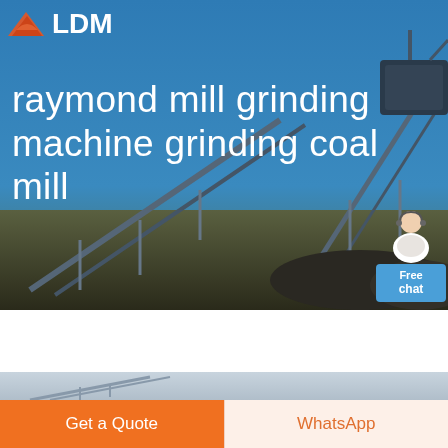[Figure (screenshot): Industrial mining/quarry site hero banner with conveyor belts, steel structures and machinery against blue sky, with LDM logo in top left]
raymond mill grinding machine grinding coal mill
[Figure (screenshot): Chat widget showing customer service representative avatar with 'Free chat' button in blue]
[Figure (photo): Second industrial image strip showing conveyor belt structure against light sky]
Get a Quote
WhatsApp